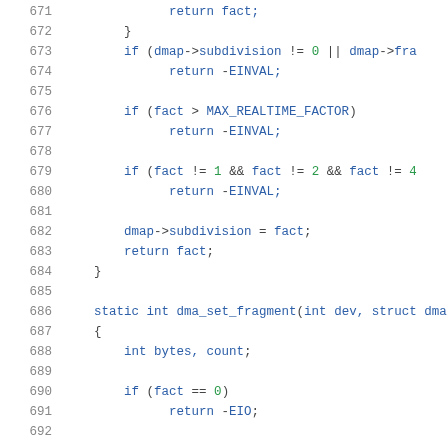Source code listing lines 671-692, C programming language kernel/driver code showing dma subdivision and fragment functions